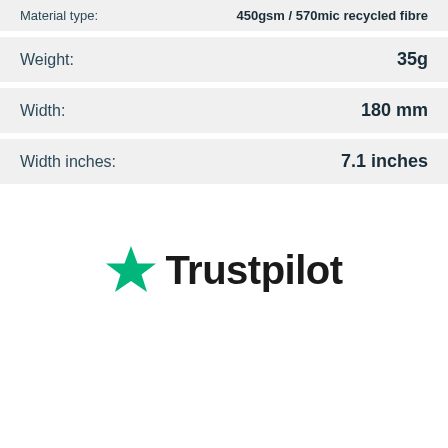| Property | Value |
| --- | --- |
| Material type: | 450gsm / 570mic recycled fibre |
| Weight: | 35g |
| Width: | 180 mm |
| Width inches: | 7.1 inches |
[Figure (logo): Trustpilot logo with green star and black 'Trustpilot' text]